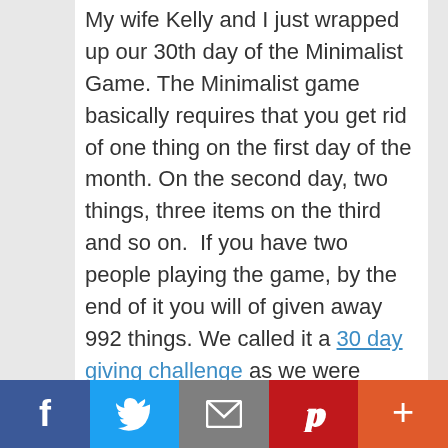My wife Kelly and I just wrapped up our 30th day of the Minimalist Game. The Minimalist game basically requires that you get rid of one thing on the first day of the month. On the second day, two things, three items on the third and so on.  If you have two people playing the game, by the end of it you will of given away 992 things. We called it a 30 day giving challenge as we were trying to focus on giving away items that could be used again like toys, clothing, electronics, kitchen stuff, and dreaded decorations category.
f | tweet | email | Pinterest | +